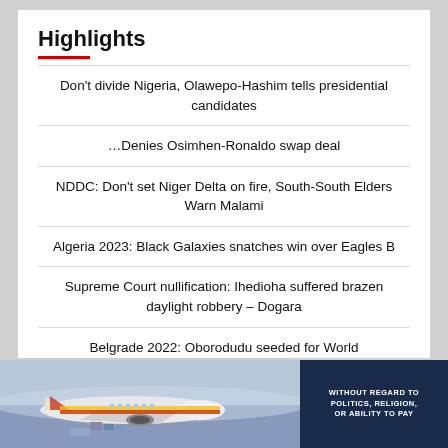Highlights
Don't divide Nigeria, Olawepo-Hashim tells presidential candidates
…Denies Osimhen-Ronaldo swap deal
NDDC: Don't set Niger Delta on fire, South-South Elders Warn Malami
Algeria 2023: Black Galaxies snatches win over Eagles B
Supreme Court nullification: Ihedioha suffered brazen daylight robbery – Dogara
Belgrade 2022: Oborodudu seeded for World Championship
[Figure (photo): Cargo airplane being loaded at an airport tarmac, advertisement banner with text WITHOUT REGARD TO POLITICS, RELIGION, OR ABILITY TO PAY]